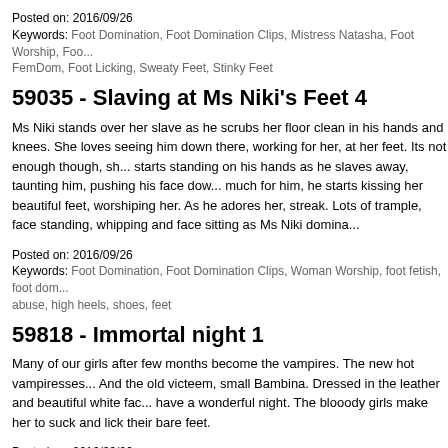Posted on: 2016/09/26
Keywords: Foot Domination, Foot Domination Clips, Mistress Natasha, Foot Worship, Foo... FemDom, Foot Licking, Sweaty Feet, Stinky Feet
59035 - Slaving at Ms Niki's Feet 4
Ms Niki stands over her slave as he scrubs her floor clean in his hands and knees. She loves seeing him down there, working for her, at her feet. Its not enough though, sh... starts standing on his hands as he slaves away, taunting him, pushing his face dow... much for him, he starts kissing her beautiful feet, worshiping her. As he adores her, streak. Lots of trample, face standing, whipping and face sitting as Ms Niki domina...
Posted on: 2016/09/26
Keywords: Foot Domination, Foot Domination Clips, Woman Worship, foot fetish, foot dom... abuse, high heels, shoes, feet
59818 - Immortal night 1
Many of our girls after few months become the vampires. The new hot vampiresses... And the old victeem, small Bambina. Dressed in the leather and beautiful white fac... have a wonderful night. The blooody girls make her to suck and lick their bare feet.
Posted on: 2016/09/26
Keywords: Foot Worship, Foot Worship Clips, DuneFeet
104829 - Muscle Legs In Stockings
My strong legs in stockings fishnets will take you over the edge! I pose for you whil... jerks .... How would it be, your head between my legs strong - would you trust your...
Posted on: 2016/09/26
Keywords: Female Domination, Female Domination Clips, PinaPunish, muscle fetish, mus...